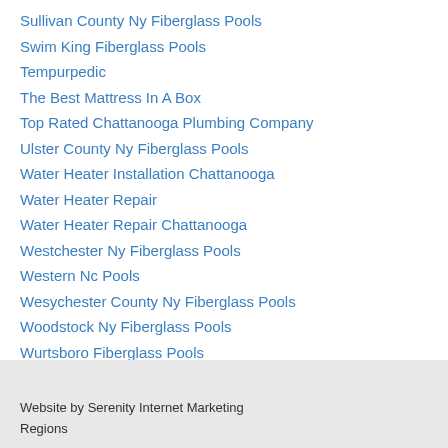Sullivan County Ny Fiberglass Pools
Swim King Fiberglass Pools
Tempurpedic
The Best Mattress In A Box
Top Rated Chattanooga Plumbing Company
Ulster County Ny Fiberglass Pools
Water Heater Installation Chattanooga
Water Heater Repair
Water Heater Repair Chattanooga
Westchester Ny Fiberglass Pools
Western Nc Pools
Wesychester County Ny Fiberglass Pools
Woodstock Ny Fiberglass Pools
Wurtsboro Fiberglass Pools
RSS Feed
Website by Serenity Internet Marketing
Regions